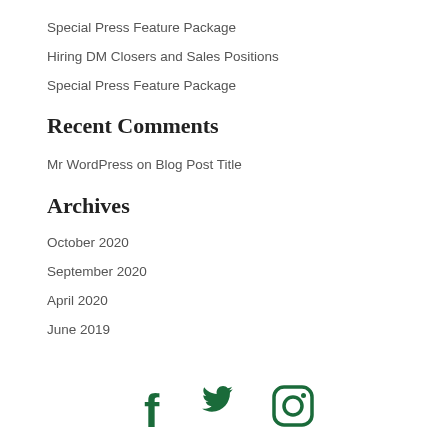Special Press Feature Package
Hiring DM Closers and Sales Positions
Special Press Feature Package
Recent Comments
Mr WordPress on Blog Post Title
Archives
October 2020
September 2020
April 2020
June 2019
[Figure (illustration): Social media icons: Facebook, Twitter, Instagram in dark green color]